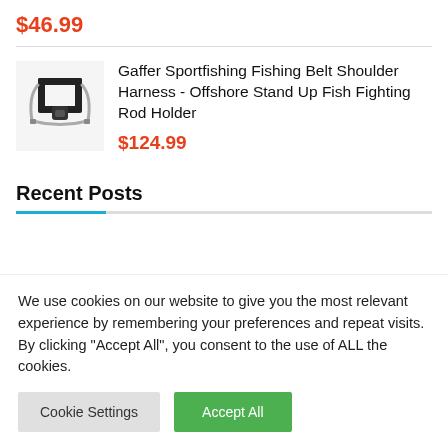$46.99
[Figure (photo): Product image of a fishing belt shoulder harness rod holder, black frame with straps]
Gaffer Sportfishing Fishing Belt Shoulder Harness - Offshore Stand Up Fish Fighting Rod Holder
$124.99
Recent Posts
We use cookies on our website to give you the most relevant experience by remembering your preferences and repeat visits. By clicking “Accept All”, you consent to the use of ALL the cookies.